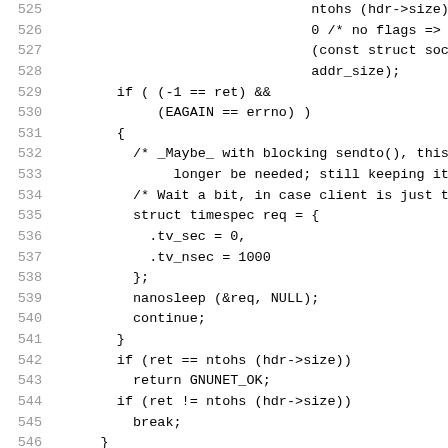[Figure (other): Source code listing, lines 525-554, showing C code with line numbers on the left and code on the right. The code involves sendto(), nanosleep(), GNUNET_log_strerror, and related logic.]